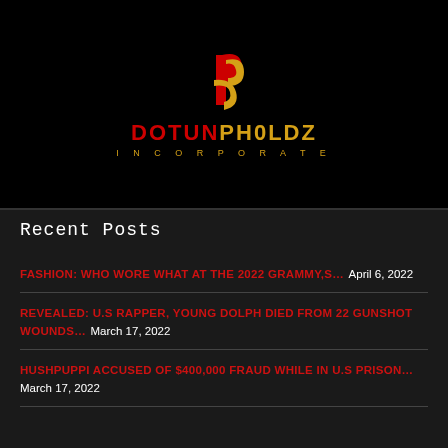[Figure (logo): Dotun Pholdz Incorporate logo — red 'DOTUN' and gold 'PHOLDZ' text with a gold stylized 'P' icon above, on black background]
Recent Posts
FASHION: WHO WORE WHAT AT THE 2022 GRAMMY,S… April 6, 2022
REVEALED: U.S RAPPER, YOUNG DOLPH DIED FROM 22 GUNSHOT WOUNDS… March 17, 2022
HUSHPUPPI ACCUSED OF $400,000 FRAUD WHILE IN U.S PRISON… March 17, 2022